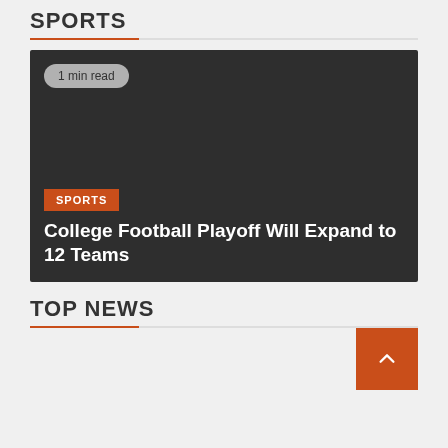SPORTS
[Figure (other): Dark background news card image with '1 min read' badge, SPORTS category label in orange, and article headline 'College Football Playoff Will Expand to 12 Teams' in white text at bottom.]
TOP NEWS